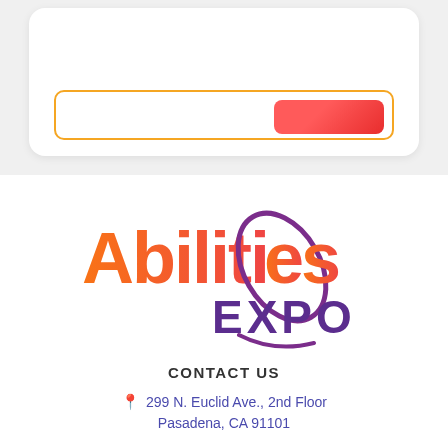[Figure (screenshot): Top portion of a mobile app card UI with orange border and a red gradient button, on a light gray background]
[Figure (logo): Abilities Expo logo: 'Abilities' in orange gradient bold text, 'EXPO' in purple bold text, with a purple orbital swoosh around the letter 'e']
CONTACT US
299 N. Euclid Ave., 2nd Floor
Pasadena, CA 91101